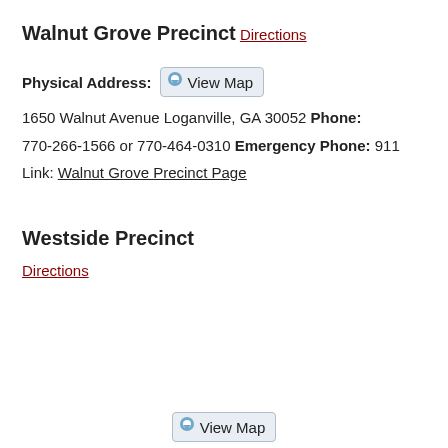Walnut Grove Precinct
Directions
Physical Address: View Map
1650 Walnut Avenue
Loganville, GA 30052
Phone:
770-266-1566 or 770-464-0310
Emergency Phone:
911
Link: Walnut Grove Precinct Page
Westside Precinct
Directions